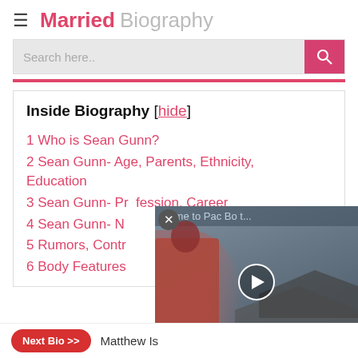Married Biography
Search here..
Inside Biography [hide]
1 Who is Sean Gunn?
2 Sean Gunn- Age, Parents, Ethnicity, Education
3 Sean Gunn- Profession, Career
4 Sean Gunn- N...
5 Rumors, Contr...
6 Body Features...
[Figure (screenshot): Video overlay showing 'Come to Pac Bo t...' with a play button and a monk/person on a rooftop scene]
Next Bio >> Matthew Is...